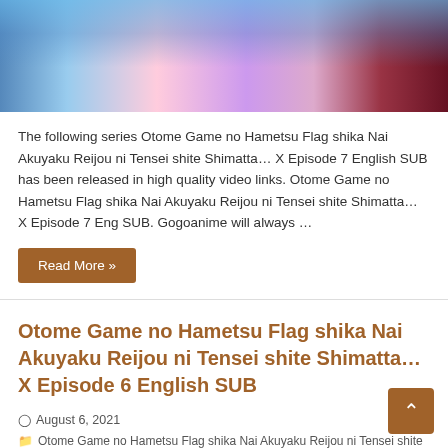[Figure (illustration): Anime illustration showing multiple characters in colorful outfits against a light background]
The following series Otome Game no Hametsu Flag shika Nai Akuyaku Reijou ni Tensei shite Shimatta… X Episode 7 English SUB has been released in high quality video links. Otome Game no Hametsu Flag shika Nai Akuyaku Reijou ni Tensei shite Shimatta… X Episode 7 Eng SUB. Gogoanime will always …
Read More »
Otome Game no Hametsu Flag shika Nai Akuyaku Reijou ni Tensei shite Shimatta… X Episode 6 English SUB
August 6, 2021
Otome Game no Hametsu Flag shika Nai Akuyaku Reijou ni Tensei shite Shimatta… X
0